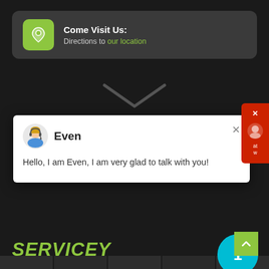[Figure (screenshot): Screenshot of a website section showing a 'Come Visit Us' card with location icon and link, a chat popup from 'Even' saying 'Hello, I am Even, I am very glad to talk with you!', a 'SERVICEY' heading in yellow-green, a cyan circle with number 1, body text about Liming Heavy Industry, and a green back-to-top button.]
Come Visit Us: Directions to our location
Even
Hello, I am Even, I am very glad to talk with you!
SERVICEY
Thank you for your interests in Liming Heavy Industry. Please feel free to submit your inquiry information to us. our sales manager will contact with you as soon as possible.